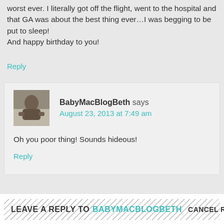worst ever. I literally got off the flight, went to the hospital and that GA was about the best thing ever…I was begging to be put to sleep!
And happy birthday to you!
Reply
BabyMacBlogBeth says
August 23, 2013 at 7:49 am
Oh you poor thing! Sounds hideous!
Reply
LEAVE A REPLY TO BABYMACBLOGBETH CANCEL REPLY